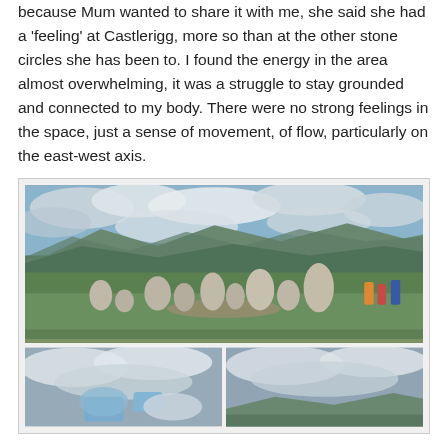because Mum wanted to share it with me, she said she had a 'feeling' at Castlerigg, more so than at the other stone circles she has been to. I found the energy in the area almost overwhelming, it was a struggle to stay grounded and connected to my body. There were no strong feelings in the space, just a sense of movement, of flow, particularly on the east-west axis.
[Figure (photo): Photograph of Castlerigg Stone Circle with standing stones arranged in a field of green grass, mountains in the background under a partly cloudy sky. Visitors visible on the right side.]
[Figure (photo): Two smaller photographs below the main image: left shows a cloudy sky with blue patches, right shows a cloudy sky with mountains visible below.]